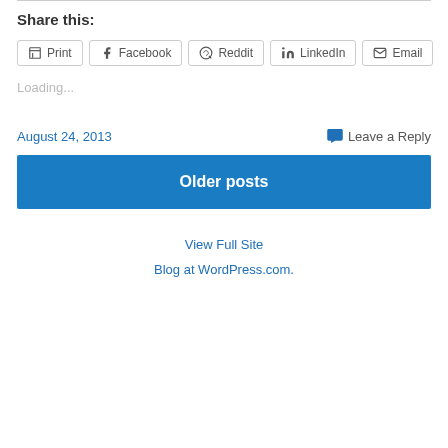Share this:
Print | Facebook | Reddit | LinkedIn | Email
Loading...
August 24, 2013    Leave a Reply
Older posts
View Full Site
Blog at WordPress.com.